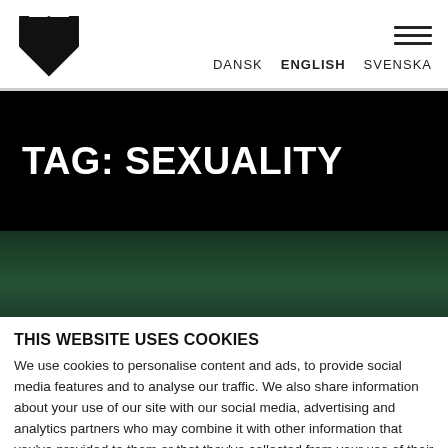[Figure (logo): Black shield/chevron logo mark]
DANSK   ENGLISH   SVENSKA
TAG: SEXUALITY
[Figure (photo): Dark green/teal blurry background image]
THIS WEBSITE USES COOKIES
We use cookies to personalise content and ads, to provide social media features and to analyse our traffic. We also share information about your use of our site with our social media, advertising and analytics partners who may combine it with other information that you've provided to them or that they've collected from your use of their services.